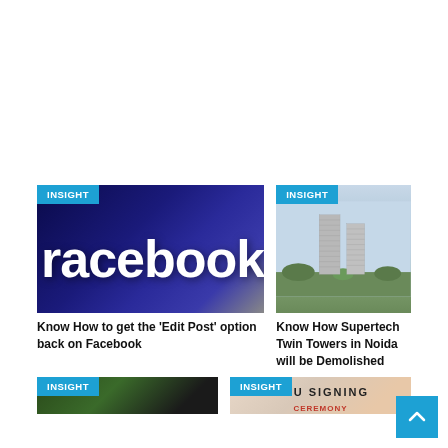[Figure (photo): Facebook logo sign on dark blue background]
INSIGHT
Know How to get the 'Edit Post' option back on Facebook
[Figure (photo): Supertech Twin Towers tall cylindrical skyscrapers in Noida]
INSIGHT
Know How Supertech Twin Towers in Noida will be Demolished
[Figure (photo): Partial bottom-left article image with trees]
INSIGHT
[Figure (photo): MOU signing ceremony image]
INSIGHT